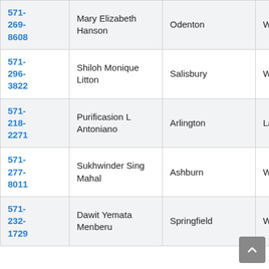| Phone | Name | City |  |
| --- | --- | --- | --- |
| 571-269-8608 | Mary Elizabeth Hanson | Odenton | W |
| 571-296-3822 | Shiloh Monique Litton | Salisbury | W |
| 571-218-2271 | Purificasion L Antoniano | Arlington | La |
| 571-277-8011 | Sukhwinder Sing Mahal | Ashburn | W |
| 571-232-1729 | Dawit Yemata Menberu | Springfield | W |